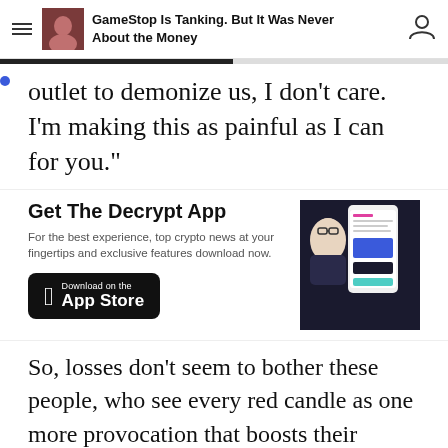GameStop Is Tanking. But It Was Never About the Money
outlet to demonize us, I don't care. I'm making this as painful as I can for you."
Get The Decrypt App
For the best experience, top crypto news at your fingertips and exclusive features download now.
[Figure (screenshot): App store download button for the Decrypt app on iOS, with a phone screenshot mockup showing the Decrypt app interface]
So, losses don't seem to bother these people, who see every red candle as one more provocation that boosts their morale during this sort of financial war. "GME is about more than just money, GME is about sending a message," said u/aoechamp, who has 25k invested in GameStop stock.